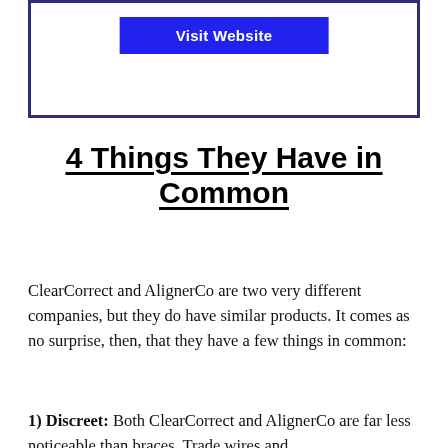[Figure (other): Button labeled 'Visit Website' with blue background inside a dark navy bordered box]
4 Things They Have in Common
ClearCorrect and AlignerCo are two very different companies, but they do have similar products. It comes as no surprise, then, that they have a few things in common:
1) Discreet: Both ClearCorrect and AlignerCo are far less noticeable than braces. Trade wires and